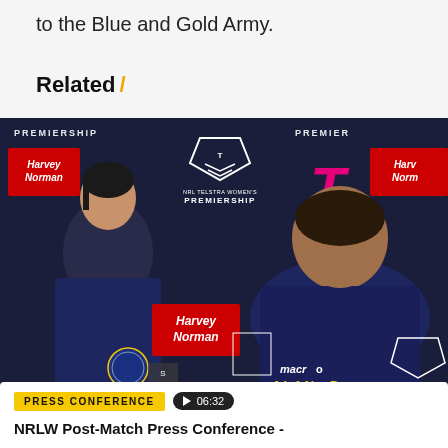to the Blue and Gold Army.
Related /
[Figure (photo): Video thumbnail showing two people at an NRL Women's Telstra Premiership press conference with Harvey Norman sponsor banners in the background. A woman on the left and a man on the right sit at a table with microphones. A yellow 'PRESS CONFERENCE' badge and duration '06:32' are shown at the bottom.]
NRLW Post-Match Press Conference -